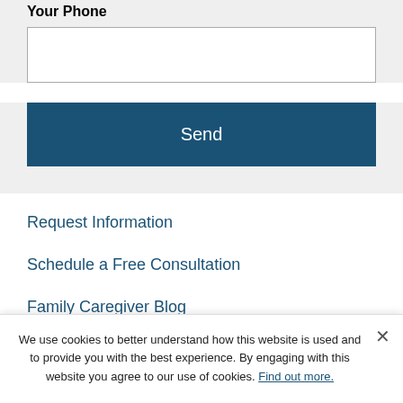Your Phone
(phone input field)
Send
Request Information
Schedule a Free Consultation
Family Caregiver Blog
We use cookies to better understand how this website is used and to provide you with the best experience. By engaging with this website you agree to our use of cookies. Find out more.